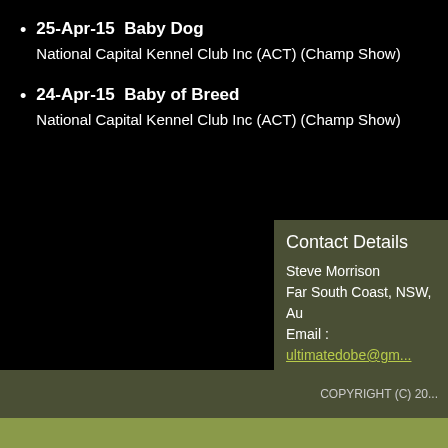25-Apr-15  Baby Dog
National Capital Kennel Club Inc (ACT) (Champ Show)
24-Apr-15  Baby of Breed
National Capital Kennel Club Inc (ACT) (Champ Show)
Contact Details
Steve Morrison
Far South Coast, NSW, Au
Email : ultimatedobe@gm...
COPYRIGHT (C) 20...